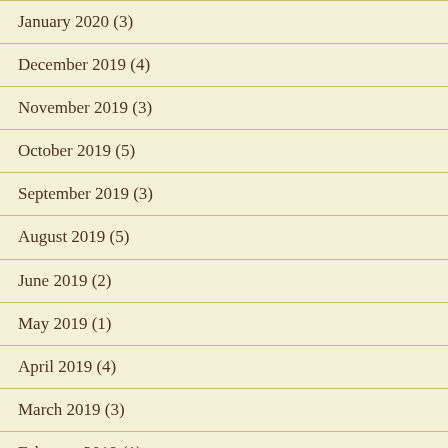January 2020 (3)
December 2019 (4)
November 2019 (3)
October 2019 (5)
September 2019 (3)
August 2019 (5)
June 2019 (2)
May 2019 (1)
April 2019 (4)
March 2019 (3)
February 2019 (1)
January 2019 (2)
December 2018 (1)